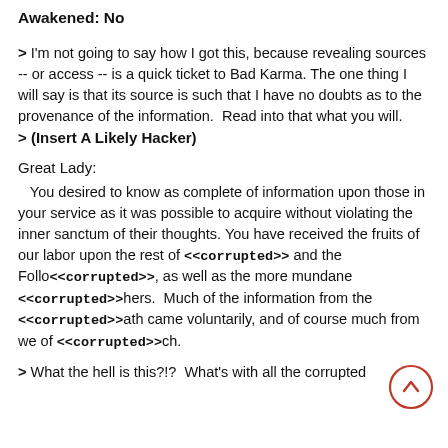Awakened: No
> I'm not going to say how I got this, because revealing sources -- or access -- is a quick ticket to Bad Karma. The one thing I will say is that its source is such that I have no doubts as to the provenance of the information. Read into that what you will.
> (Insert A Likely Hacker)
Great Lady:
You desired to know as complete of information upon those in your service as it was possible to acquire without violating the inner sanctum of their thoughts. You have received the fruits of our labor upon the rest of <<corrupted>> and the Follo<<corrupted>>, as well as the more mundane <<corrupted>>hers. Much of the information from the <<corrupted>>ath came voluntarily, and of course much from we of <<corrupted>>ch.
> What the hell is this?!? What's with all the corrupted d...